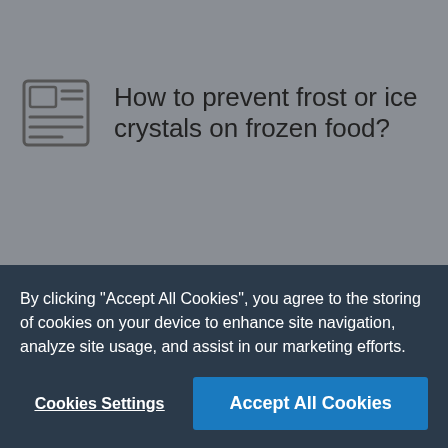How to prevent frost or ice crystals on frozen food?
How to fix a freezer that's not working?
By clicking "Accept All Cookies", you agree to the storing of cookies on your device to enhance site navigation, analyze site usage, and assist in our marketing efforts.
Cookies Settings
Accept All Cookies